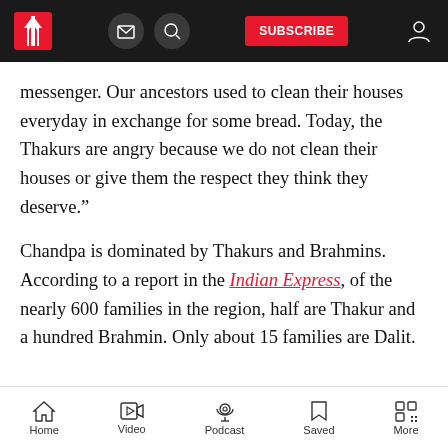[Navigation bar with logo, mail icon, search icon, SUBSCRIBE button, user icon]
messenger. Our ancestors used to clean their houses everyday in exchange for some bread. Today, the Thakurs are angry because we do not clean their houses or give them the respect they think they deserve.”
Chandpa is dominated by Thakurs and Brahmins. According to a report in the Indian Express, of the nearly 600 families in the region, half are Thakur and a hundred Brahmin. Only about 15 families are Dalit.
Home   Video   Podcast   Saved   More